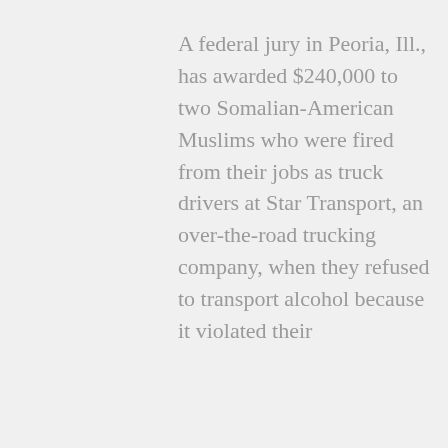A federal jury in Peoria, Ill., has awarded $240,000 to two Somalian-American Muslims who were fired from their jobs as truck drivers at Star Transport, an over-the-road trucking company, when they refused to transport alcohol because it violated their